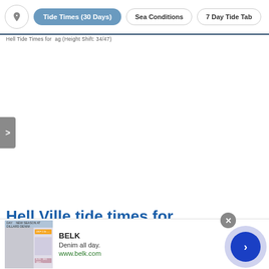Tide Times (30 Days) | Sea Conditions | 7 Day Tide Tab
Hell Tide Times for ...ag (Height Shift: 34/47)
Hell Ville tide times for August and September
[Figure (screenshot): BELK advertisement banner with denim clothing image. Brand: BELK. Tagline: Denim all day. URL: www.belk.com]